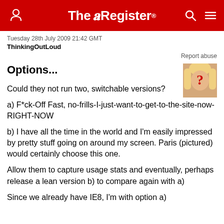The Register
Tuesday 28th July 2009 21:42 GMT
ThinkingOutLoud
Report abuse
Options...
[Figure (photo): Avatar image of a blonde woman with a question mark, possibly Paris Hilton]
Could they not run two, switchable versions?
a) F*ck-Off Fast, no-frills-I-just-want-to-get-to-the-site-now-RIGHT-NOW
b) I have all the time in the world and I'm easily impressed by pretty stuff going on around my screen. Paris (pictured) would certainly choose this one.
Allow them to capture usage stats and eventually, perhaps release a lean version b) to compare again with a)
Since we already have IE8, I'm with option a)